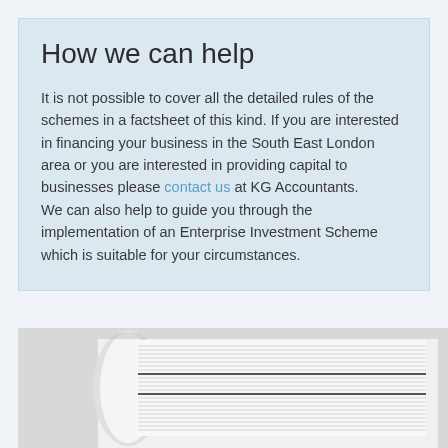How we can help
It is not possible to cover all the detailed rules of the schemes in a factsheet of this kind. If you are interested in financing your business in the South East London area or you are interested in providing capital to businesses please contact us at KG Accountants.
We can also help to guide you through the implementation of an Enterprise Investment Scheme which is suitable for your circumstances.
[Figure (photo): Close-up photograph of stacked books or a thick book spine showing pages from the side, in white/light tones with black binding visible.]